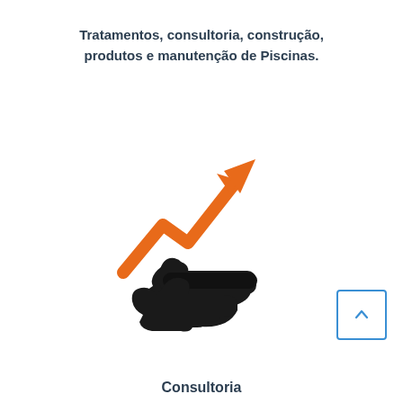Tratamentos, consultoria, construção, produtos e manutenção de Piscinas.
[Figure (illustration): Icon of a hand holding an upward trending orange arrow/chart, symbolizing growth and consultancy services]
Consultoria